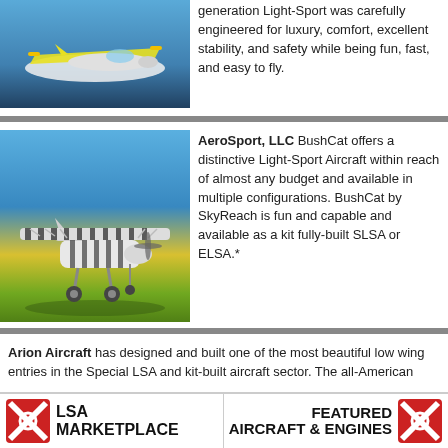[Figure (photo): Yellow and white light sport aircraft in flight against blue background]
generation Light-Sport was carefully engineered for luxury, comfort, excellent stability, and safety while being fun, fast, and easy to fly.
[Figure (photo): BushCat aircraft with zebra stripe paint scheme, flying over green and yellow background]
AeroSport, LLC BushCat offers a distinctive Light-Sport Aircraft within reach of almost any budget and available in multiple configurations. BushCat by SkyReach is fun and capable and available as a kit fully-built SLSA or ELSA.*
Arion Aircraft has designed and built one of the most beautiful low wing entries in the Special LSA and kit-built aircraft sector. The all-American
[Figure (logo): LSA Marketplace logo with red X icon]
[Figure (logo): Featured Aircraft & Engines logo with red X icon]